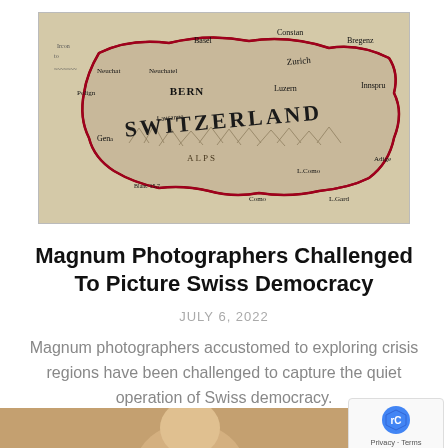[Figure (map): Vintage historical map of Switzerland showing regions including Bern, Zurich, Luzern, Lausanne, Geneva, and surrounding areas with red border markings and decorative typography.]
Magnum Photographers Challenged To Picture Swiss Democracy
JULY 6, 2022
Magnum photographers accustomed to exploring crisis regions have been challenged to capture the quiet operation of Swiss democracy.
[Figure (photo): Partial photo visible at bottom of page, appears to show a person.]